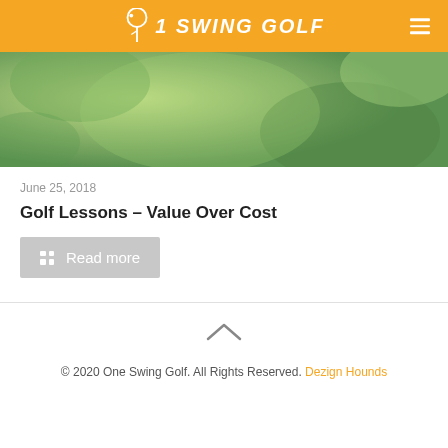1 SWING GOLF
[Figure (photo): Green golf course background banner with the word 'Instruction' in bold blue italic text]
June 25, 2018
Golf Lessons – Value Over Cost
Read more
© 2020 One Swing Golf. All Rights Reserved. Dezign Hounds